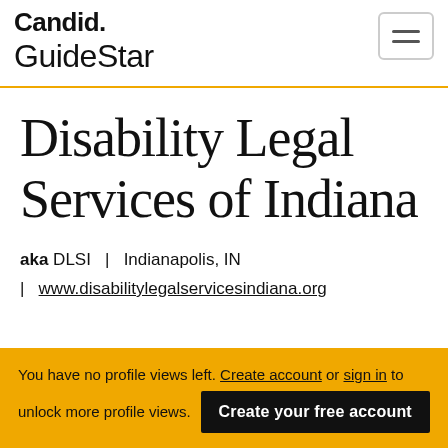Candid. GuideStar
Disability Legal Services of Indiana
aka DLSI | Indianapolis, IN | www.disabilitylegalservicesindiana.org
You have no profile views left. Create account or sign in to unlock more profile views. Create your free account